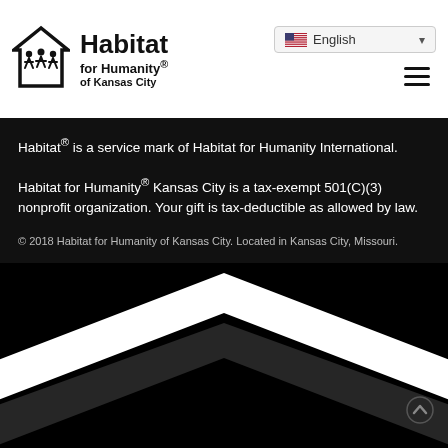[Figure (logo): Habitat for Humanity of Kansas City logo with stylized house and people icon, black and white]
Habitat® is a service mark of Habitat for Humanity International.
Habitat for Humanity® Kansas City is a tax-exempt 501(C)(3) nonprofit organization. Your gift is tax-deductible as allowed by law.
© 2018 Habitat for Humanity of Kansas City. Located in Kansas City, Missouri.
[Figure (illustration): Large white chevron/house roofline graphic on black background at bottom of page]